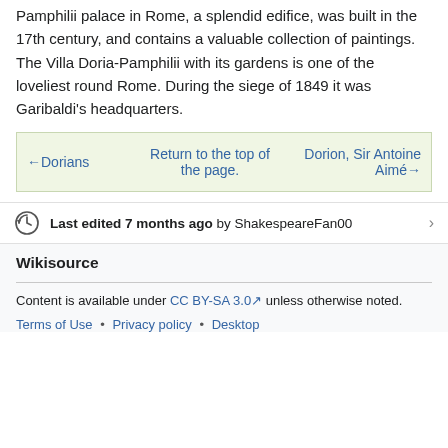Pamphilii palace in Rome, a splendid edifice, was built in the 17th century, and contains a valuable collection of paintings. The Villa Doria-Pamphilii with its gardens is one of the loveliest round Rome. During the siege of 1849 it was Garibaldi's headquarters.
| ←Dorians | Return to the top of the page. | Dorion, Sir Antoine Aimé→ |
| --- | --- | --- |
Last edited 7 months ago by ShakespeareFan00
Wikisource
Content is available under CC BY-SA 3.0 unless otherwise noted.
Terms of Use • Privacy policy • Desktop